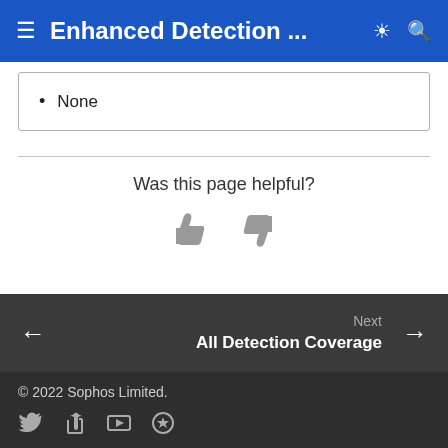Enhanced Detection ...
None
Was this page helpful?
[Figure (illustration): Thumbs up and thumbs down feedback icons]
Next
All Detection Coverage →
© 2022 Sophos Limited.